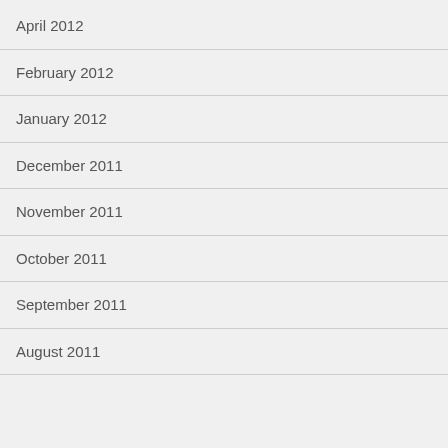April 2012
February 2012
January 2012
December 2011
November 2011
October 2011
September 2011
August 2011